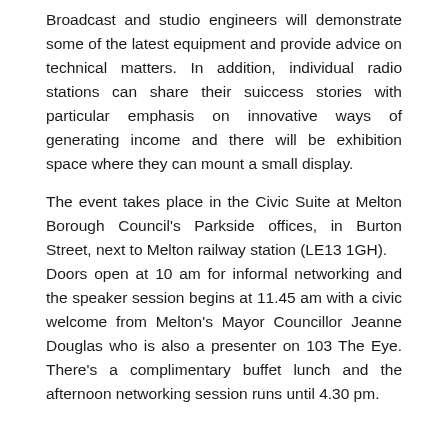Broadcast and studio engineers will demonstrate some of the latest equipment and provide advice on technical matters. In addition, individual radio stations can share their suiccess stories with particular emphasis on innovative ways of generating income and there will be exhibition space where they can mount a small display.
The event takes place in the Civic Suite at Melton Borough Council's Parkside offices, in Burton Street, next to Melton railway station (LE13 1GH). Doors open at 10 am for informal networking and the speaker session begins at 11.45 am with a civic welcome from Melton's Mayor Councillor Jeanne Douglas who is also a presenter on 103 The Eye. There's a complimentary buffet lunch and the afternoon networking session runs until 4.30 pm.